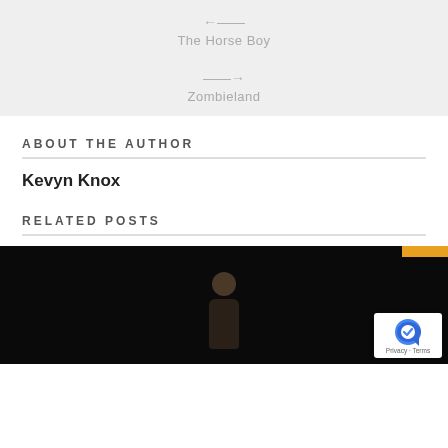← The Horse Boy
→ Zombieland
ABOUT THE AUTHOR
Kevyn Knox
RELATED POSTS
[Figure (photo): Black and white photo of a person, partially visible, dark background]